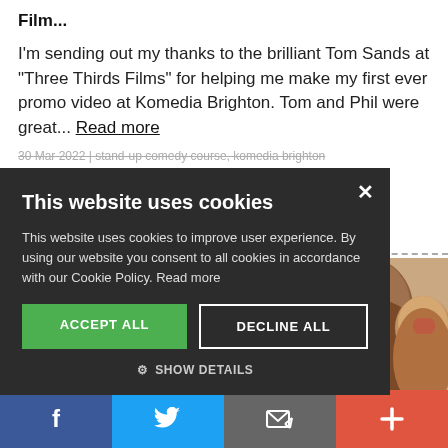Film...
I'm sending out my thanks to the brilliant Tom Sands at "Three Thirds Films" for helping me make my first ever promo video at Komedia Brighton. Tom and Phil were great... Read more
30 Mar 2022 | stand-up comedy course, komedia brighton
[Figure (screenshot): Cookie consent modal overlay with dark background. Title: 'This website uses cookies'. Body text about cookie policy. Two buttons: ACCEPT ALL (green) and DECLINE ALL (outlined). SHOW DETAILS link below. An X close button in top right corner.]
[Figure (photo): Partial photo of two people's faces on the right side of the page, cropped/partially obscured.]
[Figure (infographic): Bottom social sharing bar with four colored sections: Facebook (blue, f icon), Twitter (light blue, bird icon), Email/share (grey, envelope icon), Add/more (red-orange, plus icon).]